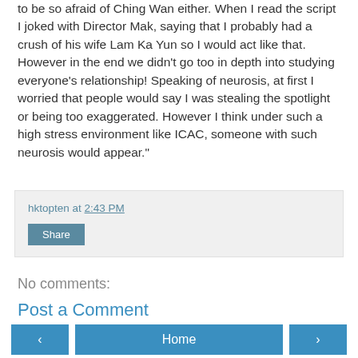to be so afraid of Ching Wan either. When I read the script I joked with Director Mak, saying that I probably had a crush of his wife Lam Ka Yun so I would act like that. However in the end we didn't go too in depth into studying everyone's relationship! Speaking of neurosis, at first I worried that people would say I was stealing the spotlight or being too exaggerated. However I think under such a high stress environment like ICAC, someone with such neurosis would appear."
hktopten at 2:43 PM
Share
No comments:
Post a Comment
‹  Home  ›